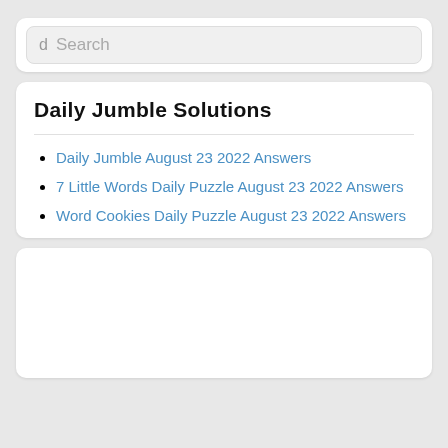Search
Daily Jumble Solutions
Daily Jumble August 23 2022 Answers
7 Little Words Daily Puzzle August 23 2022 Answers
Word Cookies Daily Puzzle August 23 2022 Answers